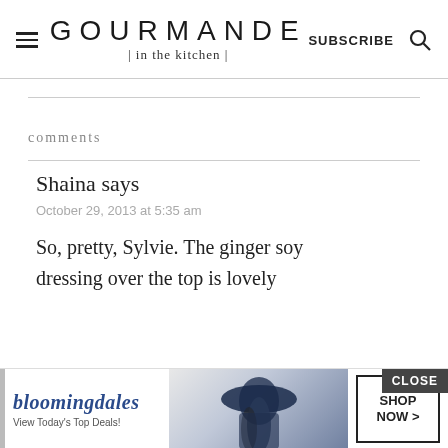GOURMANDE in the kitchen | SUBSCRIBE
comments
Shaina says
October 29, 2013 at 5:35 am
So, pretty, Sylvie. The ginger soy dressing over the top is lovely
[Figure (screenshot): Bloomingdale's advertisement banner: logo with 'bloomingdales', tagline 'View Today's Top Deals!', image of woman in wide-brim hat, and 'SHOP NOW >' button. Has a CLOSE button overlay.]